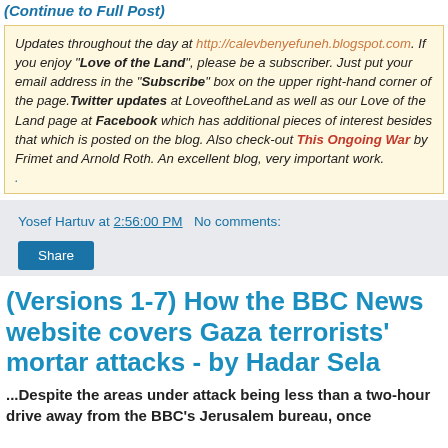(Continue to Full Post)
Updates throughout the day at http://calevbenyefuneh.blogspot.com. If you enjoy "Love of the Land", please be a subscriber. Just put your email address in the "Subscribe" box on the upper right-hand corner of the page. Twitter updates at LoveoftheLand as well as our Love of the Land page at Facebook which has additional pieces of interest besides that which is posted on the blog. Also check-out This Ongoing War by Frimet and Arnold Roth. An excellent blog, very important work.
Yosef Hartuv at 2:56:00 PM   No comments:
Share
(Versions 1-7) How the BBC News website covers Gaza terrorists' mortar attacks - by Hadar Sela
...Despite the areas under attack being less than a two-hour drive away from the BBC's Jerusalem bureau, once